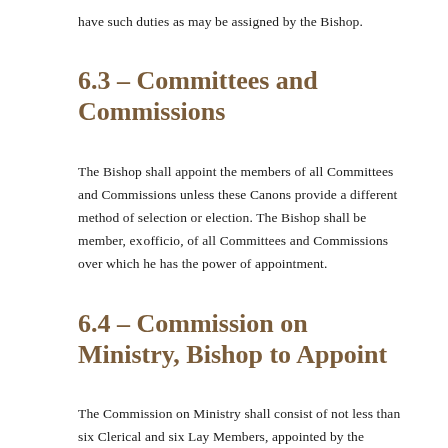have such duties as may be assigned by the Bishop.
6.3 – Committees and Commissions
The Bishop shall appoint the members of all Committees and Commissions unless these Canons provide a different method of selection or election. The Bishop shall be member, ex officio, of all Committees and Commissions over which he has the power of appointment.
6.4 – Commission on Ministry, Bishop to Appoint
The Commission on Ministry shall consist of not less than six Clerical and six Lay Members, appointed by the Bishop, pursuant to the Canons of the General